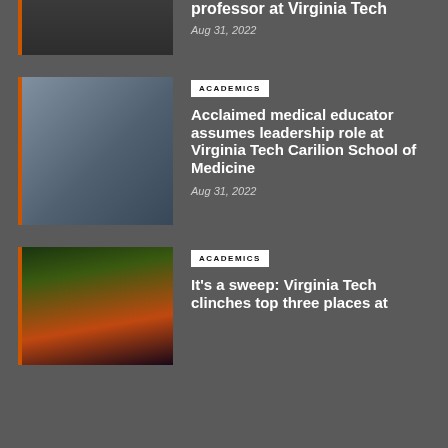[Figure (photo): Partial photo of hands or person at top of page]
professor at Virginia Tech
Aug 31, 2022
[Figure (photo): Photo of a man in a suit standing outdoors near a building]
ACADEMICS
Acclaimed medical educator assumes leadership role at Virginia Tech Carilion School of Medicine
Aug 31, 2022
[Figure (photo): Photo of drones flying over a landscape at dusk with orange sky]
ACADEMICS
It’s a sweep: Virginia Tech clinches top three places at